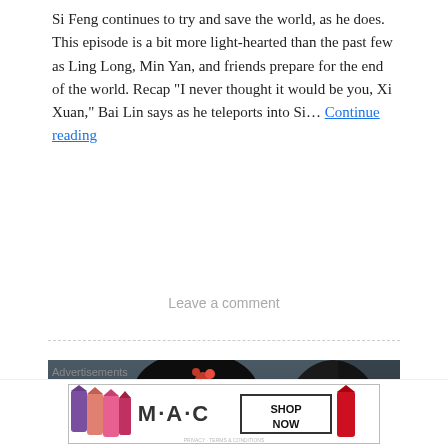Si Feng continues to try and save the world, as he does. This episode is a bit more light-hearted than the past few as Ling Long, Min Yan, and friends prepare for the end of the world. Recap "I never thought it would be you, Xi Xuan," Bai Lin says as he teleports into Si... Continue reading
Leave a comment
[Figure (photo): Screenshot from a Chinese drama showing a male actor in traditional costume with Chinese text overlay on the right side]
Advertisements
[Figure (photo): MAC cosmetics advertisement showing lipsticks in purple, orange-pink, and pink colors with MAC logo and SHOP NOW button]